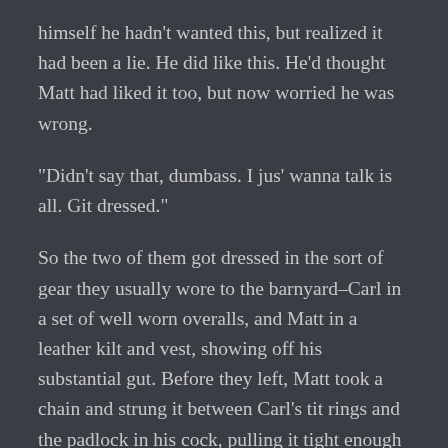himself he hadn't wanted this, but realized it had been a lie. He did like this. He'd thought Matt had liked it too, but now worried he was wrong.
“Didn’t say that, dumbass. I jus’ wanna talk is all. Git dressed.”
So the two of them got dressed in the sort of gear they usually wore to the barnyard–Carl in a set of well worn overalls, and Matt in a leather kilt and vest, showing off his substantial gut. Before they left, Matt took a chain and strung it between Carl’s tit rings and the padlock in his cock, pulling it tight enough that his hard cock was dragged up against his body, though still hidden from view by the front of the overalls. It wasn’t comfortable, but it was rendered useless.